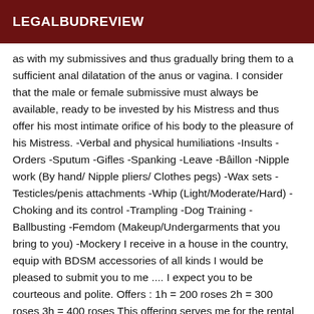LEGALBUDREVIEW
as with my submissives and thus gradually bring them to a sufficient anal dilatation of the anus or vagina. I consider that the male or female submissive must always be available, ready to be invested by his Mistress and thus offer his most intimate orifice of his body to the pleasure of his Mistress. -Verbal and physical humiliations -Insults -Orders -Sputum -Gifles -Spanking -Leave -Bâillon -Nipple work (By hand/ Nipple pliers/ Clothes pegs) -Wax sets -Testicles/penis attachments -Whip (Light/Moderate/Hard) -Choking and its control -Trampling -Dog Training -Ballbusting -Femdom (Makeup/Undergarments that you bring to you) -Mockery I receive in a house in the country, equip with BDSM accessories of all kinds I would be pleased to submit you to me .... I expect you to be courteous and polite. Offers : 1h = 200 roses 2h = 300 roses 3h = 400 roses This offering serves me for the rental of my SM game room, and offer me nice domina outfit as well as equipment or